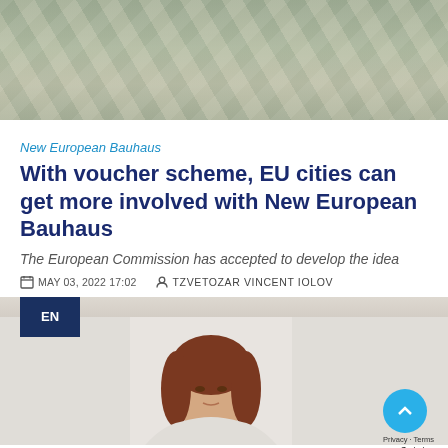[Figure (photo): Top banner photo showing an architectural structure with green plants/vegetation and stone or concrete angular elements]
New European Bauhaus
With voucher scheme, EU cities can get more involved with New European Bauhaus
The European Commission has accepted to develop the idea
MAY 03, 2022 17:02   TZVETOZAR VINCENT IOLOV
[Figure (photo): Portrait photo of a woman with brown/auburn hair, facing forward, against a light background. A dark blue 'EN' badge label is overlaid in the top-left corner of the photo area.]